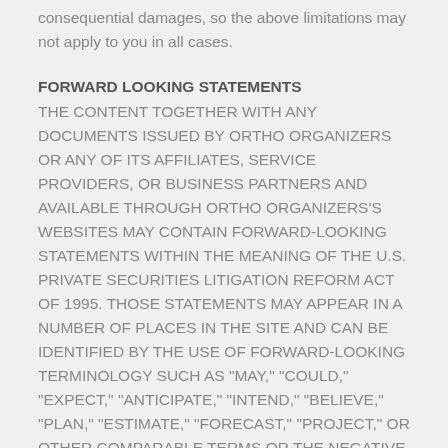consequential damages, so the above limitations may not apply to you in all cases.
FORWARD LOOKING STATEMENTS
THE CONTENT TOGETHER WITH ANY DOCUMENTS ISSUED BY ORTHO ORGANIZERS OR ANY OF ITS AFFILIATES, SERVICE PROVIDERS, OR BUSINESS PARTNERS AND AVAILABLE THROUGH ORTHO ORGANIZERS'S WEBSITES MAY CONTAIN FORWARD-LOOKING STATEMENTS WITHIN THE MEANING OF THE U.S. PRIVATE SECURITIES LITIGATION REFORM ACT OF 1995. THOSE STATEMENTS MAY APPEAR IN A NUMBER OF PLACES IN THE SITE AND CAN BE IDENTIFIED BY THE USE OF FORWARD-LOOKING TERMINOLOGY SUCH AS "MAY," "COULD," "EXPECT," "ANTICIPATE," "INTEND," "BELIEVE," "PLAN," "ESTIMATE," "FORECAST," "PROJECT," OR OTHER COMPARABLE TERMS OR THE NEGATIVE THEREOF. THE COMPANY PROVIDES THE FOLLOWING CAUTIONARY REMARKS REGARDING